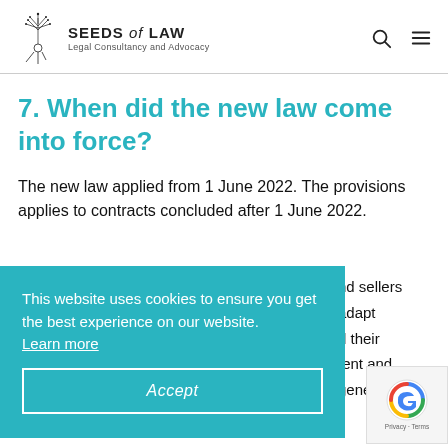SEEDS of LAW — Legal Consultancy and Advocacy
7. When did the new law come into force?
The new law applied from 1 June 2022. The provisions applies to contracts concluded after 1 June 2022.
This website uses cookies to ensure you get the best experience on our website. Learn more
Accept